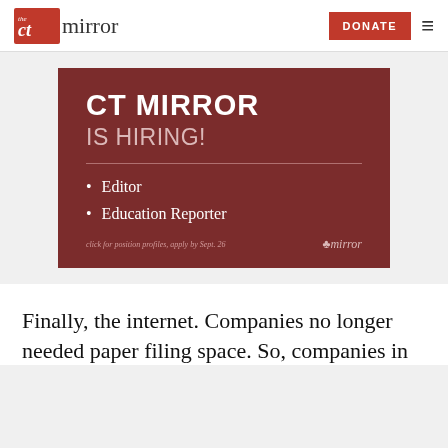the CT mirror | DONATE
[Figure (infographic): CT Mirror hiring advertisement on dark red/maroon background. Heading: CT MIRROR IS HIRING! With a horizontal rule, then bullet points: Editor, Education Reporter. Footer text: click for position profiles, apply by Sept. 26, with CT Mirror logo.]
Finally, the internet. Companies no longer needed paper filing space. So, companies in